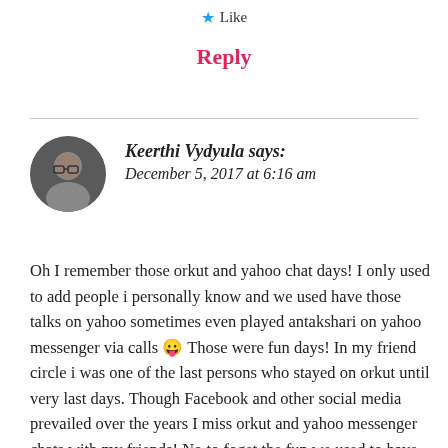★ Like
Reply
Keerthi Vydyula says:
December 5, 2017 at 6:16 am
Oh I remember those orkut and yahoo chat days! I only used to add people i personally know and we used have those talks on yahoo sometimes even played antakshari on yahoo messenger via calls 😛 Those were fun days! In my friend circle i was one of the last persons who stayed on orkut until very last days. Though Facebook and other social media prevailed over the years I miss orkut and yahoo messenger chats with my friends! No to foget the fun we used to have sending doodles and that one audio message which was my fav